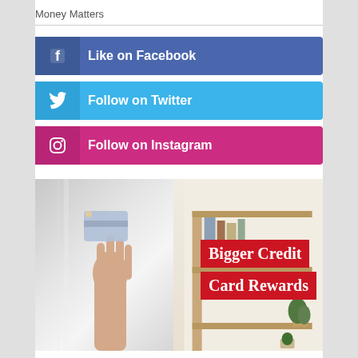Money Matters
Like on Facebook
Follow on Twitter
Follow on Instagram
[Figure (photo): Hand holding a credit card raised up, with a bookshelf in background. Overlaid red text banners read 'Bigger Credit Card Rewards']
Bigger Credit Card Rewards